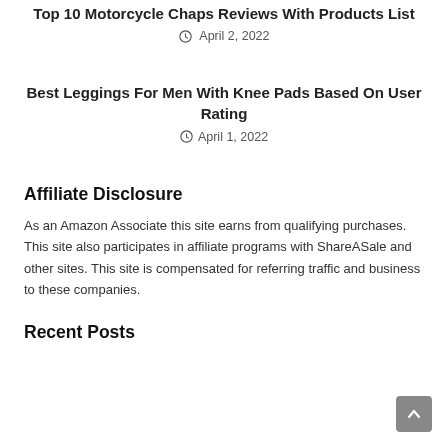Top 10 Motorcycle Chaps Reviews With Products List
April 2, 2022
Best Leggings For Men With Knee Pads Based On User Rating
April 1, 2022
Affiliate Disclosure
As an Amazon Associate this site earns from qualifying purchases. This site also participates in affiliate programs with ShareASale and other sites. This site is compensated for referring traffic and business to these companies.
Recent Posts